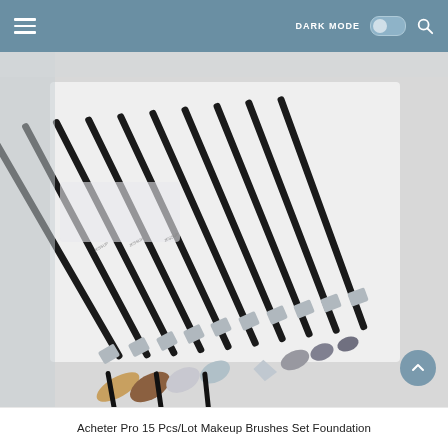DARK MODE [toggle] [search]
[Figure (photo): Photo of a Pro 15 Pcs/Lot Makeup Brushes Set arranged on a white surface. Multiple black-handled makeup brushes with silver ferrules and various brush tip shapes (flat, round, tapered, angled) are displayed, along with several double-ended brushes in the foreground.]
Acheter Pro 15 Pcs/Lot Makeup Brushes Set Foundation